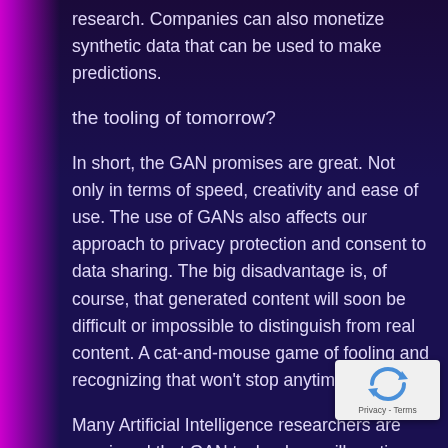research. Companies can also monetize synthetic data that can be used to make predictions.
the tooling of tomorrow?
In short, the GAN promises are great. Not only in terms of speed, creativity and ease of use. The use of GANs also affects our approach to privacy protection and consent to data sharing. The big disadvantage is, of course, that generated content will soon be difficult or impossible to distinguish from real content. A cat-and-mouse game of fooling and recognizing that won't stop anytime soon.
Many Artificial Intelligence researchers are convinced that GAN technology will continue to improve in the coming years. The big question is, of course, how much impact these developments have on our IT...